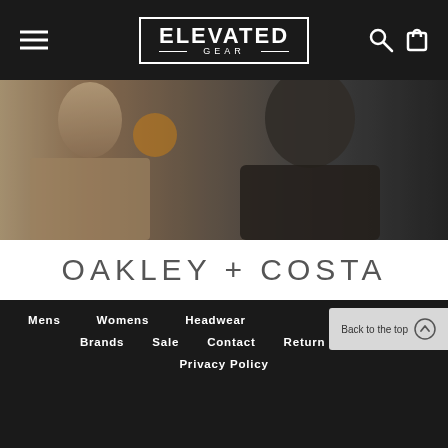ELEVATED GEAR
[Figure (photo): Two men wearing sunglasses and outdoor/casual clothing, blurred outdoor background]
OAKLEY + COSTA
Grab a new pair of sunglasses just in time for summer.
SHOP EYEWEAR
Mens  Womens  Headwear  Brands  Sale  Contact  Return Policy  Privacy Policy  Back to the top